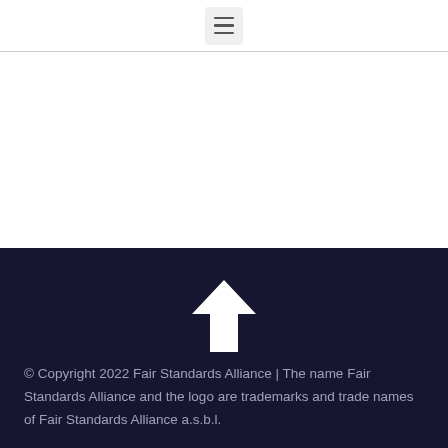[menu icon]
[Figure (illustration): White arrow pointing upward on dark navy background, centered in footer area]
© Copyright 2022 Fair Standards Alliance | The name Fair Standards Alliance and the logo are trademarks and trade names of Fair Standards Alliance a.s.b.l.